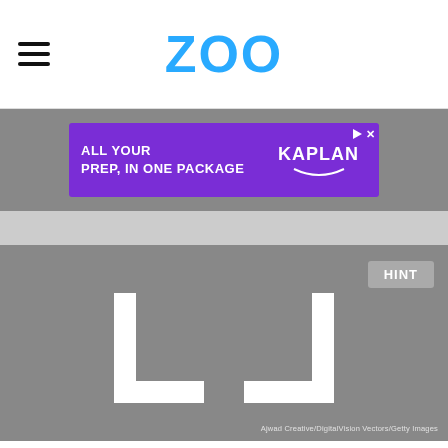ZOO
[Figure (other): Kaplan advertisement banner: purple background with white bold text 'ALL YOUR PREP, IN ONE PACKAGE' and Kaplan logo on the right]
[Figure (other): Gray image area showing two white bracket/corner shapes forming a photo frame placeholder, with image credit 'Ajwad Creative/DigitalVision Vectors/Getty Images'. A 'HINT' button appears in the upper right.]
The...